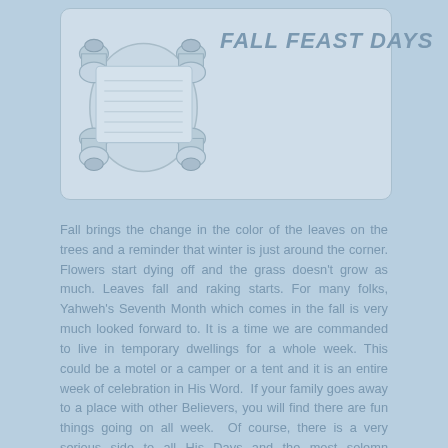FALL FEAST DAYS
[Figure (illustration): A scroll illustration in light blue/grey tones representing an ancient manuscript or Torah scroll]
Fall brings the change in the color of the leaves on the trees and a reminder that winter is just around the corner. Flowers start dying off and the grass doesn't grow as much. Leaves fall and raking starts. For many folks, Yahweh's Seventh Month which comes in the fall is very much looked forward to. It is a time we are commanded to live in temporary dwellings for a whole week. This could be a motel or a camper or a tent and it is an entire week of celebration in His Word. If your family goes away to a place with other Believers, you will find there are fun things going on all week. Of course, there is a very serious side to all His Days and the most solemn (serious) day of the entire year is called the Day of Atonement. This is a day when you are not to eat any food all day--it can be difficult until you learn how to do it. There are four special times during this month...